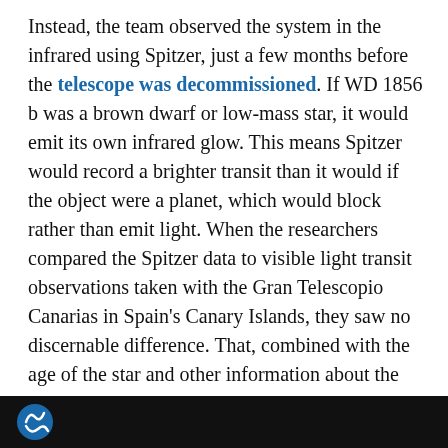Instead, the team observed the system in the infrared using Spitzer, just a few months before the telescope was decommissioned. If WD 1856 b was a brown dwarf or low-mass star, it would emit its own infrared glow. This means Spitzer would record a brighter transit than it would if the object were a planet, which would block rather than emit light. When the researchers compared the Spitzer data to visible light transit observations taken with the Gran Telescopio Canarias in Spain's Canary Islands, they saw no discernable difference. That, combined with the age of the star and other information about the system, led them to conclude that WD 1856 b is most likely a planet no more than 14 times Jupiter's size. Future research and observations may be able to confirm this conclusion.
[Figure (other): Bottom strip showing a dark background with a partial circular logo visible at the left edge]